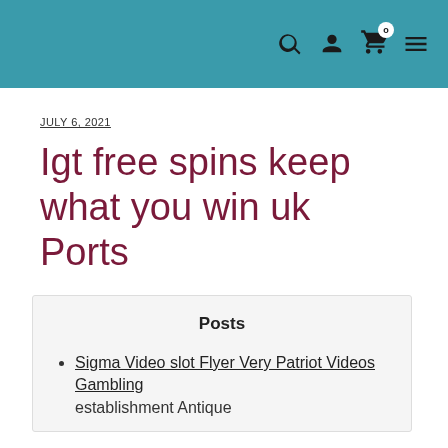Navigation header with search, user, cart (0), and menu icons
JULY 6, 2021
Igt free spins keep what you win uk Ports
Posts
Sigma Video slot Flyer Very Patriot Videos Gambling establishment Antique